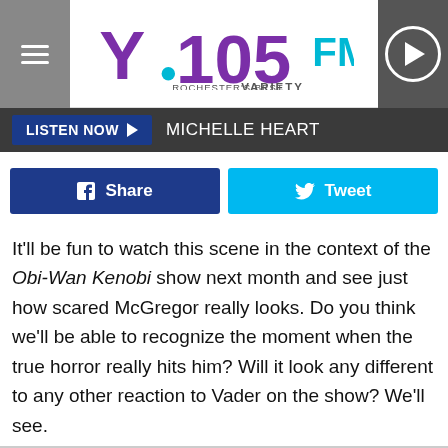Y.105FM ROCHESTER'S BEST VARIETY
LISTEN NOW ▶ MICHELLE HEART
Share  Tweet
It'll be fun to watch this scene in the context of the Obi-Wan Kenobi show next month and see just how scared McGregor really looks. Do you think we'll be able to recognize the moment when the true horror really hits him? Will it look any different to any other reaction to Vader on the show? We'll see.
Obi-Wan Kenobi premieres on May 27 on Disney+.
Sign up for Disney+ here.